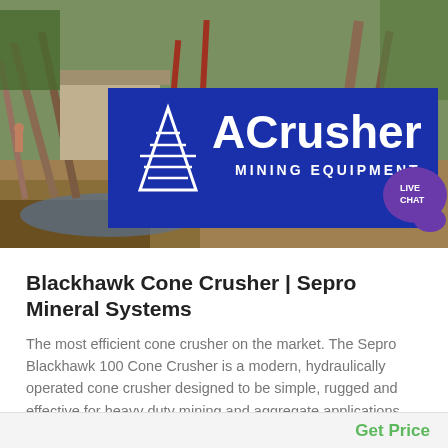[Figure (photo): Mining site with industrial equipment and conveyor structures in the background. ACrusher Mining Equipment logo overlay with blue background, white triangle logo mark, and company name.]
Blackhawk Cone Crusher | Sepro Mineral Systems
The most efficient cone crusher on the market. The Sepro Blackhawk 100 Cone Crusher is a modern, hydraulically operated cone crusher designed to be simple, rugged and effective for heavy duty mining and aggregate applications. The combination of the speed and eccentric throw of the crusher provides fine crushing capability and high capacity in a very compact design.
Get Price